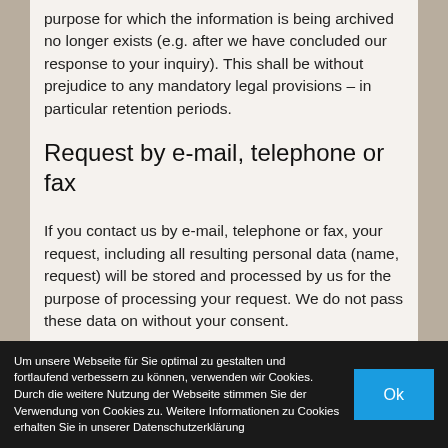purpose for which the information is being archived no longer exists (e.g. after we have concluded our response to your inquiry). This shall be without prejudice to any mandatory legal provisions – in particular retention periods.
Request by e-mail, telephone or fax
If you contact us by e-mail, telephone or fax, your request, including all resulting personal data (name, request) will be stored and processed by us for the purpose of processing your request. We do not pass these data on without your consent.
These data are processed on the basis of Art. 6 Sect. 1 lit. b GDPR if your inquiry is related to the fulfillment of a contract or is required for the performance of pre-contractual measures. In all other cases, the data are
Um unsere Webseite für Sie optimal zu gestalten und fortlaufend verbessern zu können, verwenden wir Cookies. Durch die weitere Nutzung der Webseite stimmen Sie der Verwendung von Cookies zu. Weitere Informationen zu Cookies erhalten Sie in unserer Datenschutzerklärung